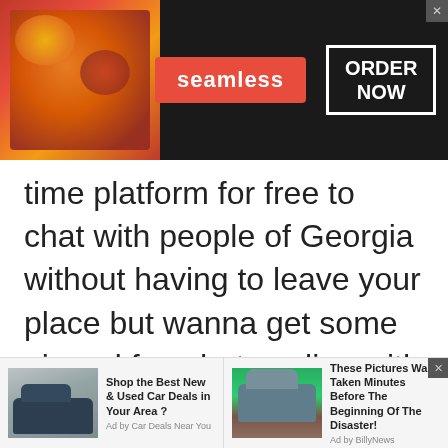[Figure (screenshot): Seamless food delivery banner advertisement with pizza image on left, seamless logo in red box center, and ORDER NOW button with white border on dark background. Close button top right.]
time platform for free to chat with people of Georgia without having to leave your place but wanna get some air and fun chats online with people of Georgia. A fantastic platform to maintain life where fun and enjoyment hides back in the
[Figure (screenshot): Bottom advertisement strip with two ads: 'Shop the Best New & Used Car Deals in Your Area? Ad by Car Deals Near You' with car image, and 'These Pictures Was Taken Minutes Before The Beginning Of The Disaster! Ad by BillyNews' with flood/road image. Close X button top right.]